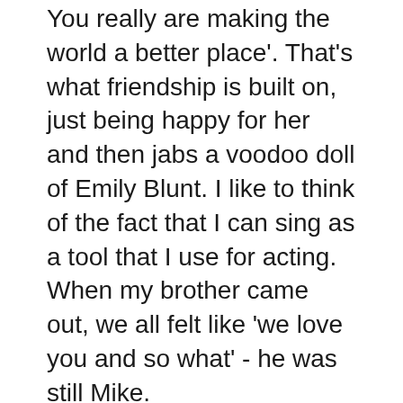You really are making the world a better place'. That's what friendship is built on, just being happy for her and then jabs a voodoo doll of Emily Blunt. I like to think of the fact that I can sing as a tool that I use for acting. When my brother came out, we all felt like 'we love you and so what' - he was still Mike.
Nice to meet you. I would go into my trailer and a make-up artist would put body make-up on me and then I would compulsively do sit-ups and push-ups until they needed me on set.
Can anybody find me somebody to love. Women are having sexual experiences for less than a dollar a day so their children can eat. To Play Queen Somebody To Love Anne Hathaway Cover click Play button. 2. To Download Queen Somebody To Love Anne Hathaway makomamoa.com3 click Download button & select